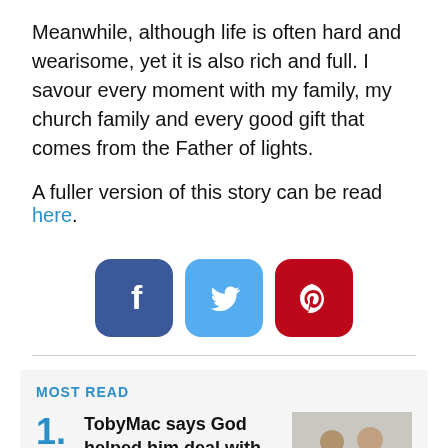Meanwhile, although life is often hard and wearisome, yet it is also rich and full. I savour every moment with my family, my church family and every good gift that comes from the Father of lights.
A fuller version of this story can be read here.
[Figure (infographic): Three social media share buttons: Facebook (dark blue), Twitter (light blue), Pinterest (dark red)]
MOST READ
TobyMac says God helped him deal with pain of son's death
[Figure (photo): Photo of two young men standing together outdoors]